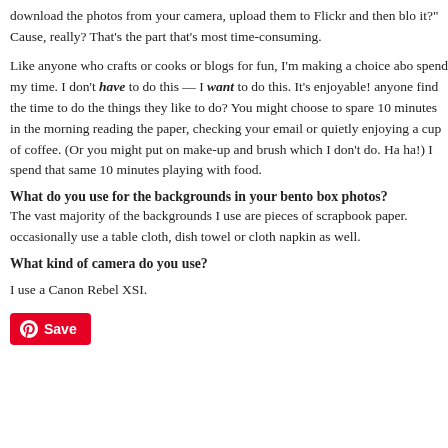download the photos from your camera, upload them to Flickr and then blo it?" Cause, really? That's the part that's most time-consuming.
Like anyone who crafts or cooks or blogs for fun, I'm making a choice abo spend my time. I don't have to do this — I want to do this. It's enjoyable! anyone find the time to do the things they like to do? You might choose to spare 10 minutes in the morning reading the paper, checking your email or quietly enjoying a cup of coffee. (Or you might put on make-up and brush which I don't do. Ha ha!) I spend that same 10 minutes playing with food.
What do you use for the backgrounds in your bento box photos?
The vast majority of the backgrounds I use are pieces of scrapbook paper. occasionally use a table cloth, dish towel or cloth napkin as well.
What kind of camera do you use?
I use a Canon Rebel XSI.
[Figure (other): Pinterest Save button with Pinterest logo icon in red]